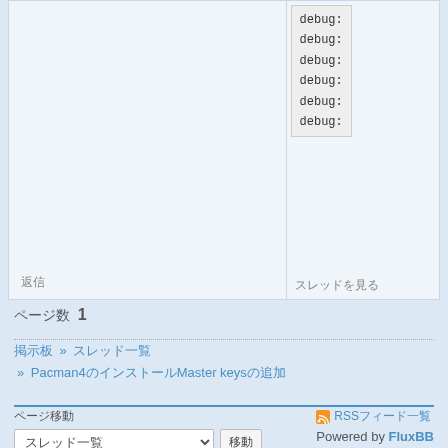debug:
debug:
debug:
debug:
debug:
debug:
返信
スレッドを見る
ページ数　1
掲示板 » スレッド一覧
» Pacman4のインストールMaster keysの追加
ページ移動
RSS フィード一覧
Powered by FluxBB